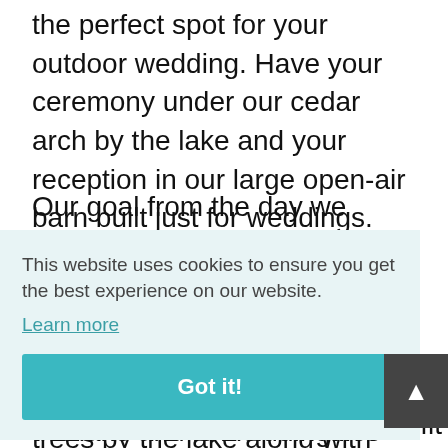the perfect spot for your outdoor wedding. Have your ceremony under our cedar arch by the lake and your reception in our large open-air barn built just for weddings.
Our goal from the day we opened has always been to create a wedding venue that brings the outdoor feeling into your wedding. The custom cedar arch set between willow trees by the lake along with our [partially obscured] to fit
This website uses cookies to ensure you get the best experience on our website.
Learn more
Got it!
ur
dies
the lake and our [text continues]